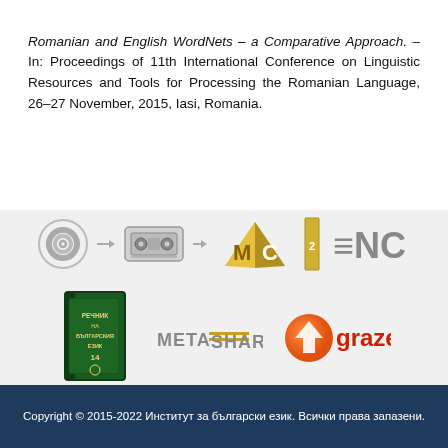Romanian and English WordNets – a Comparative Approach. – In: Proceedings of 11th International Conference on Linguistic Resources and Tools for Processing the Romanian Language, 26–27 November, 2015, Iasi, Romania.
[Figure (logo): Row of sponsor/partner logos: spiral icon, cassette/tape icon, MС cube logo, BNC text logo, Bulgarian dictionary book, META=SHARE logo, graze logo]
Copyright © 2015-2022 Институт за български език. Всички права запазени.